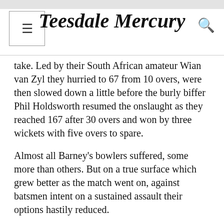Teesdale Mercury
take. Led by their South African amateur Wian van Zyl they hurried to 67 from 10 overs, were then slowed down a little before the burly biffer Phil Holdsworth resumed the onslaught as they reached 167 after 30 overs and won by three wickets with five overs to spare.
Almost all Barney's bowlers suffered, some more than others. But on a true surface which grew better as the match went on, against batsmen intent on a sustained assault their options hastily reduced.
Victory would have seen Barney stay top of the NYSD League table. Instead, they drop to third, ahead of Richmond on run rate and behind Stockton and Middlesbrough, the latter having played a game more. On the evidence so far, it threatens to be a topsy turvy season.